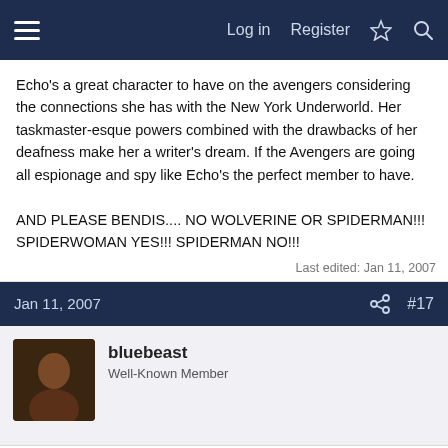Log in  Register
Echo's a great character to have on the avengers considering the connections she has with the New York Underworld. Her taskmaster-esque powers combined with the drawbacks of her deafness make her a writer's dream. If the Avengers are going all espionage and spy like Echo's the perfect member to have.

AND PLEASE BENDIS.... NO WOLVERINE OR SPIDERMAN!!! SPIDERWOMAN YES!!! SPIDERMAN NO!!!
Last edited: Jan 11, 2007
Jan 11, 2007  #17
bluebeast
Well-Known Member
[Figure (illustration): Broken image thumbnail with red X icon]
This varient by Lenil Francis Yu kind of spoils some members.